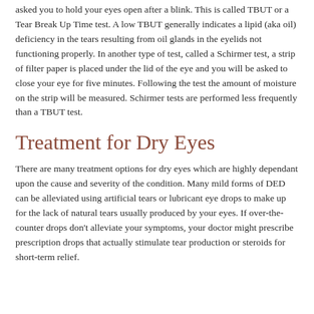asked you to hold your eyes open after a blink. This is called TBUT or a Tear Break Up Time test. A low TBUT generally indicates a lipid (aka oil) deficiency in the tears resulting from oil glands in the eyelids not functioning properly. In another type of test, called a Schirmer test, a strip of filter paper is placed under the lid of the eye and you will be asked to close your eye for five minutes. Following the test the amount of moisture on the strip will be measured. Schirmer tests are performed less frequently than a TBUT test.
Treatment for Dry Eyes
There are many treatment options for dry eyes which are highly dependant upon the cause and severity of the condition. Many mild forms of DED can be alleviated using artificial tears or lubricant eye drops to make up for the lack of natural tears usually produced by your eyes. If over-the-counter drops don't alleviate your symptoms, your doctor might prescribe prescription drops that actually stimulate tear production or steroids for short-term relief.